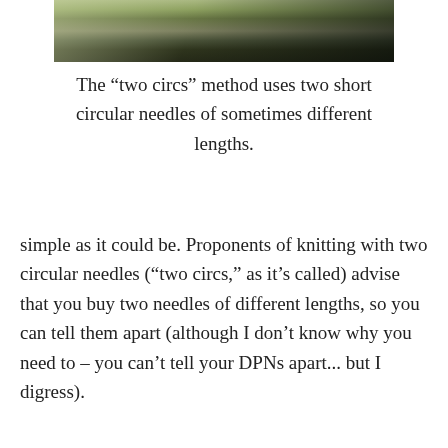[Figure (photo): Partial photo of outdoor scene with circular knitting needles, green plants and dark background visible at top of page]
The “two circs” method uses two short circular needles of sometimes different lengths.
simple as it could be. Proponents of knitting with two circular needles (“two circs,” as it’s called) advise that you buy two needles of different lengths, so you can tell them apart (although I don’t know why you need to – you can’t tell your DPNs apart... but I digress).